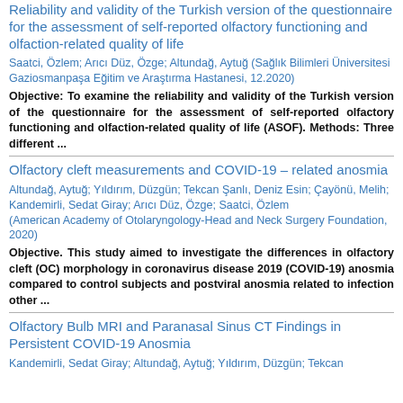Reliability and validity of the Turkish version of the questionnaire for the assessment of self-reported olfactory functioning and olfaction-related quality of life
Saatci, Özlem; Arıcı Düz, Özge; Altundağ, Aytuğ (Sağlık Bilimleri Üniversitesi Gaziosmanpaşa Eğitim ve Araştırma Hastanesi, 12.2020)
Objective: To examine the reliability and validity of the Turkish version of the questionnaire for the assessment of self-reported olfactory functioning and olfaction-related quality of life (ASOF). Methods: Three different ...
Olfactory cleft measurements and COVID-19 – related anosmia
Altundağ, Aytuğ; Yıldırım, Düzgün; Tekcan Şanlı, Deniz Esin; Çayönü, Melih; Kandemirli, Sedat Giray; Arıcı Düz, Özge; Saatci, Özlem (American Academy of Otolaryngology-Head and Neck Surgery Foundation, 2020)
Objective. This study aimed to investigate the differences in olfactory cleft (OC) morphology in coronavirus disease 2019 (COVID-19) anosmia compared to control subjects and postviral anosmia related to infection other ...
Olfactory Bulb MRI and Paranasal Sinus CT Findings in Persistent COVID-19 Anosmia
Kandemirli, Sedat Giray; Altundağ, Aytuğ; Yıldırım, Düzgün; Tekcan